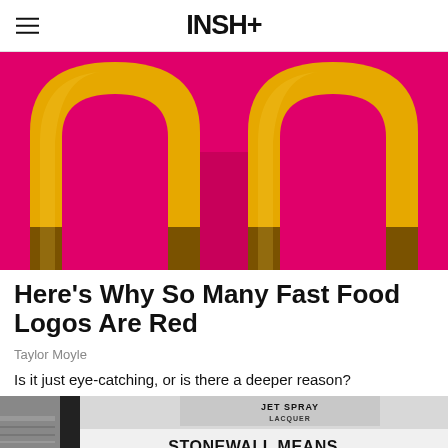INSH+
[Figure (photo): Close-up of McDonald's golden arches logo in yellow on a bright pink/red background, photographed from below at an angle.]
Here's Why So Many Fast Food Logos Are Red
Taylor Moyle
Is it just eye-catching, or is there a deeper reason?
[Figure (photo): Black and white photo showing a protest sign reading 'STONEWALL MEANS.... FIGHT BACK!' with 'JET SPRAY LACQUER' visible in the background.]